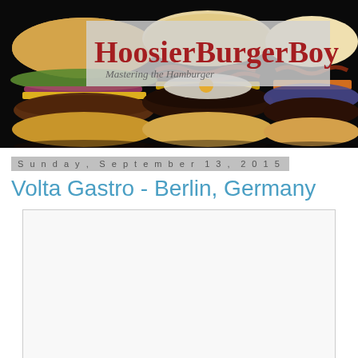[Figure (photo): HoosierBurgerBoy blog header banner showing three gourmet hamburgers on a black background with a gray semi-transparent logo overlay reading 'HoosierBurgerBoy – Mastering the Hamburger' in dark red serif text]
Sunday, September 13, 2015
Volta Gastro - Berlin, Germany
[Figure (photo): Empty white image placeholder box with a light gray border]